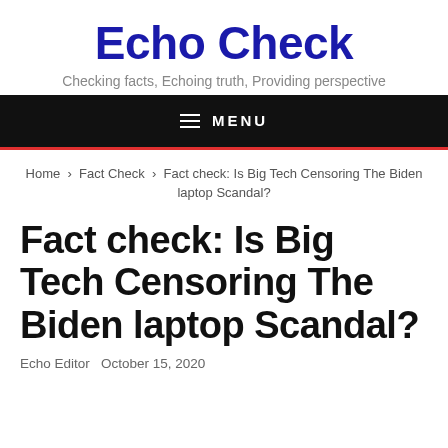Echo Check
Checking facts, Echoing truth, Providing perspective
MENU
Home > Fact Check > Fact check: Is Big Tech Censoring The Biden laptop Scandal?
Fact check: Is Big Tech Censoring The Biden laptop Scandal?
Echo Editor October 15, 2020